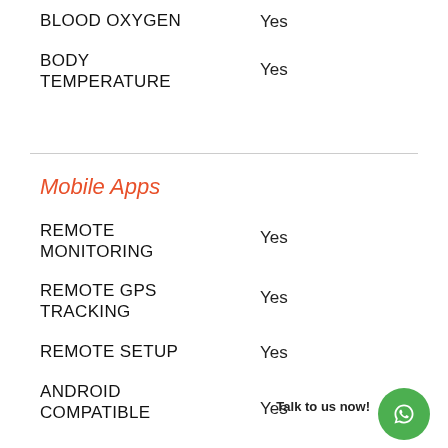BLOOD OXYGEN  Yes
BODY TEMPERATURE  Yes
Mobile Apps
REMOTE MONITORING  Yes
REMOTE GPS TRACKING  Yes
REMOTE SETUP  Yes
ANDROID COMPATIBLE  Yes
Talk to us now!